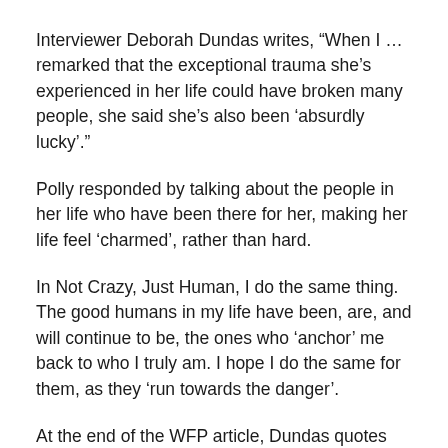Interviewer Deborah Dundas writes, “When I … remarked that the exceptional trauma she’s experienced in her life could have broken many people, she said she’s also been ‘absurdly lucky’.”
Polly responded by talking about the people in her life who have been there for her, making her life feel ‘charmed’, rather than hard.
In Not Crazy, Just Human, I do the same thing. The good humans in my life have been, are, and will continue to be, the ones who ‘anchor’ me back to who I truly am. I hope I do the same for them, as they ‘run towards the danger’.
At the end of the WFP article, Dundas quotes Polley, “I think the hard experiences you have early in life make you who you are and that isn’t necessarily a bad thing.”